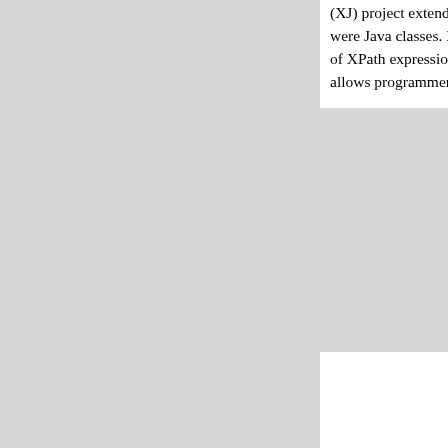(XJ) project extends Java 1.4 with first-class XML support. Programmers can import XML schemas just as one does Java packages. The type declarations in the XML schema are then available to use in Java programs as if they were Java classes. Programmers can create objects of these classes, and the compiler checks their usage for conformance to the XML schema. In addition, it performs type-checked evaluation of XPath expressions. A programmer can also create XML documents by writing XML directly inline. Again, the compiler checks correctness with respect to the appropriate schema. By bridging XML and Java, XJ allows programmers to reuse existing Java code in the development of XML code and vice-versa. This brings several advantages:
Familiarity (for the XML Programmer) : XML in XJ is fully compatible with open XML standards.
Robustness : XJ programs are strongly typed with respect to XML. The XJ compiler can detect errors in uses of XML, including the construction of XML data.
Easier Maintenance: Since XJ programs are not written using low-level APIs such as DOM or SAX, they are easier to update if XML Schemas change.
Performance: Since the compiler is aware of the XML schema, it can optimize the runtime representation, reducing the overhead of XML.